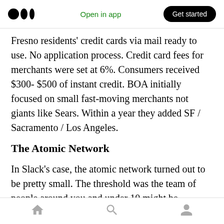Medium logo | Open in app | Get started
Fresno residents' credit cards via mail ready to use. No application process. Credit card fees for merchants were set at 6%. Consumers received $300- $500 of instant credit. BOA initially focused on small fast-moving merchants not giants like Sears. Within a year they added SF / Sacramento / Los Angeles.
The Atomic Network
In Slack's case, the atomic network turned out to be pretty small. The threshold was the team of people around you and under 10 might be
Home | Search | Profile